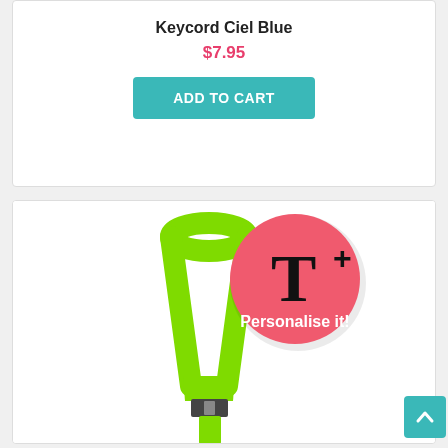Keycord Ciel Blue
$7.95
ADD TO CART
[Figure (photo): Green lanyard/keycord with a pink circular badge overlay that reads 'T+ Personalise it!']